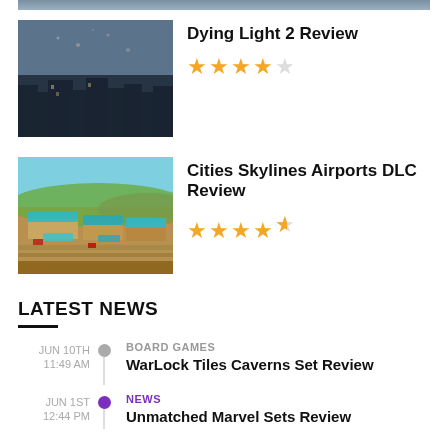[Figure (photo): Partially visible top of a game screenshot (clipped at page top)]
Dying Light 2 Review
[Figure (photo): Screenshot from Dying Light 2 showing dark atmospheric city scene with flying objects]
★★★★☆ (4 out of 5 stars)
Cities Skylines Airports DLC Review
[Figure (photo): Screenshot from Cities Skylines Airports DLC showing aerial view of airport with teal roofs]
★★★★½ (4.5 out of 5 stars)
LATEST NEWS
JUN 10TH 11:49 AM
BOARD GAMES
WarLock Tiles Caverns Set Review
JUN 1ST 12:44 PM
NEWS
Unmatched Marvel Sets Review